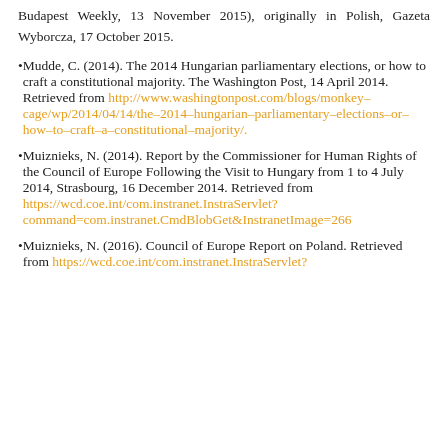Budapest Weekly, 13 November 2015), originally in Polish, Gazeta Wyborcza, 17 October 2015.
Mudde, C. (2014). The 2014 Hungarian parliamentary elections, or how to craft a constitutional majority. The Washington Post, 14 April 2014. Retrieved from http://www.washingtonpost.com/blogs/monkey-cage/wp/2014/04/14/the-2014-hungarian-parliamentary-elections-or-how-to-craft-a-constitutional-majority/.
Muiznieks, N. (2014). Report by the Commissioner for Human Rights of the Council of Europe Following the Visit to Hungary from 1 to 4 July 2014, Strasbourg, 16 December 2014. Retrieved from https://wcd.coe.int/com.instranet.InstraServlet?command=com.instranet.CmdBlobGet&InstranetImage=266
Muiznieks, N. (2016). Council of Europe Report on Poland. Retrieved from https://wcd.coe.int/com.instranet.InstraServlet?